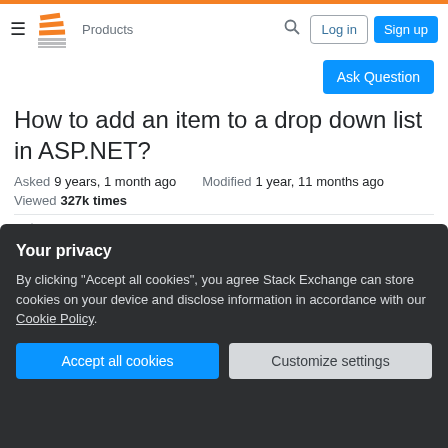[Figure (screenshot): Stack Overflow navigation bar with hamburger menu, logo, Products link, search icon, Log in and Sign up buttons]
How to add an item to a drop down list in ASP.NET?
Asked 9 years, 1 month ago   Modified 1 year, 11 months ago
Viewed 327k times
I want to add the "Add new" at a specific index, but I am not sure of the syntax. I have the following code:
Your privacy
By clicking "Accept all cookies", you agree Stack Exchange can store cookies on your device and disclose information in accordance with our Cookie Policy.
Accept all cookies   Customize settings